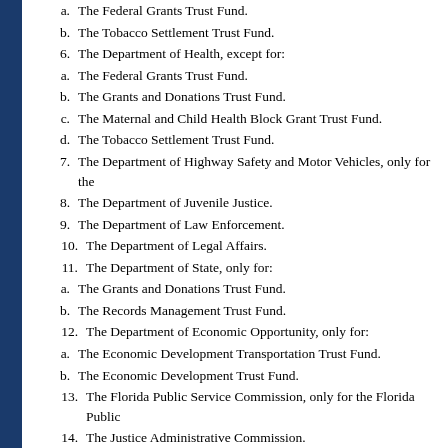a. The Federal Grants Trust Fund.
b. The Tobacco Settlement Trust Fund.
6. The Department of Health, except for:
a. The Federal Grants Trust Fund.
b. The Grants and Donations Trust Fund.
c. The Maternal and Child Health Block Grant Trust Fund.
d. The Tobacco Settlement Trust Fund.
7. The Department of Highway Safety and Motor Vehicles, only for the
8. The Department of Juvenile Justice.
9. The Department of Law Enforcement.
10. The Department of Legal Affairs.
11. The Department of State, only for:
a. The Grants and Donations Trust Fund.
b. The Records Management Trust Fund.
12. The Department of Economic Opportunity, only for:
a. The Economic Development Transportation Trust Fund.
b. The Economic Development Trust Fund.
13. The Florida Public Service Commission, only for the Florida Public
14. The Justice Administrative Commission.
15. The state courts system.
(d) Moneys in any trust funds of the agencies in paragraph (c) may be in section if:
1. Investment of such moneys and the retention of interest is required by